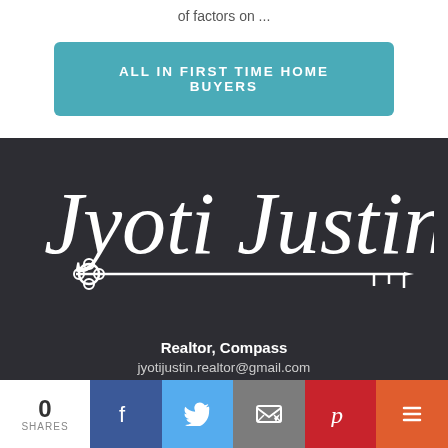of factors on ...
ALL IN FIRST TIME HOME BUYERS
[Figure (logo): Jyoti Justin cursive signature logo with a key graphic on dark background]
Realtor, Compass
jyotijustin.realtor@gmail.com
0 SHARES
[Figure (infographic): Social share bar with Facebook, Twitter, Email, Pinterest, and More buttons]